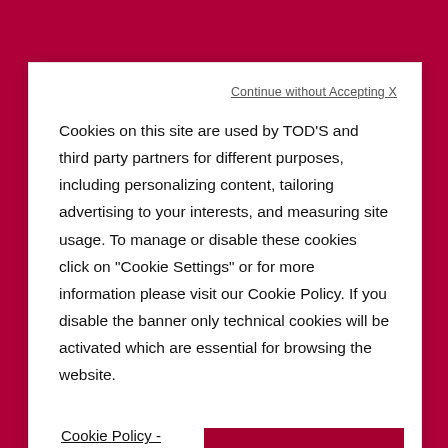[Figure (screenshot): Cookie consent modal dialog over a Tod's e-commerce website with crimson background. Modal contains a 'Continue without Accepting X' link, cookie policy text, a 'Cookie Policy - Cookie Settings' link button, and an 'Accept All Cookies' button.]
satin. Characterized by a tapered toe, it is embellished with a glowing Bouquet Strass Pearl buckle made of crystals and beads. A luxury and